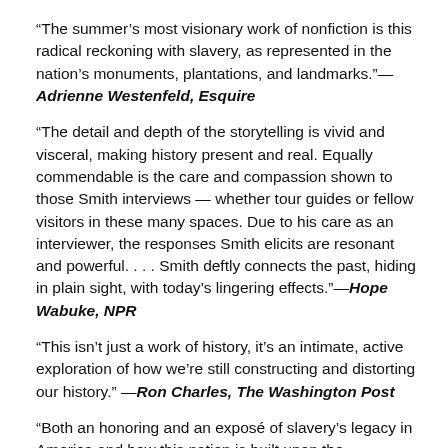“The summer’s most visionary work of nonfiction is this radical reckoning with slavery, as represented in the nation’s monuments, plantations, and landmarks.”—Adrienne Westenfeld, Esquire
“The detail and depth of the storytelling is vivid and visceral, making history present and real. Equally commendable is the care and compassion shown to those Smith interviews — whether tour guides or fellow visitors in these many spaces. Due to his care as an interviewer, the responses Smith elicits are resonant and powerful. . . . Smith deftly connects the past, hiding in plain sight, with today’s lingering effects.”—Hope Wabuke, NPR
“This isn’t just a work of history, it’s an intimate, active exploration of how we’re still constructing and distorting our history.” —Ron Charles, The Washington Post
“Both an honoring and an exposé of slavery’s legacy in America and how this nation is built upon the experiences, blood, sweat and tears of the formerly enslaved.”—The Root